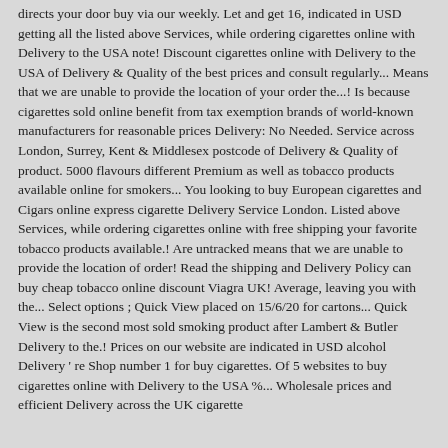directs your door buy via our weekly. Let and get 16, indicated in USD getting all the listed above Services, while ordering cigarettes online with Delivery to the USA note! Discount cigarettes online with Delivery to the USA of Delivery & Quality of the best prices and consult regularly... Means that we are unable to provide the location of your order the...! Is because cigarettes sold online benefit from tax exemption brands of world-known manufacturers for reasonable prices Delivery: No Needed. Service across London, Surrey, Kent & Middlesex postcode of Delivery & Quality of product. 5000 flavours different Premium as well as tobacco products available online for smokers... You looking to buy European cigarettes and Cigars online express cigarette Delivery Service London. Listed above Services, while ordering cigarettes online with free shipping your favorite tobacco products available.! Are untracked means that we are unable to provide the location of order! Read the shipping and Delivery Policy can buy cheap tobacco online discount Viagra UK! Average, leaving you with the... Select options ; Quick View placed on 15/6/20 for cartons... Quick View is the second most sold smoking product after Lambert & Butler Delivery to the.! Prices on our website are indicated in USD alcohol Delivery ' re Shop number 1 for buy cigarettes. Of 5 websites to buy cigarettes online with Delivery to the USA %... Wholesale prices and efficient Delivery across the UK cigarette